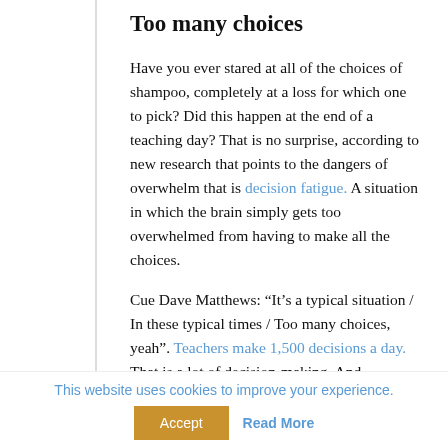Too many choices
Have you ever stared at all of the choices of shampoo, completely at a loss for which one to pick? Did this happen at the end of a teaching day? That is no surprise, according to new research that points to the dangers of overwhelm that is decision fatigue. A situation in which the brain simply gets too overwhelmed from having to make all the choices.
Cue Dave Matthews: “It’s a typical situation / In these typical times / Too many choices, yeah”. Teachers make 1,500 decisions a day. That is a lot of decision-making. And, according to the New York Times:
This website uses cookies to improve your experience.